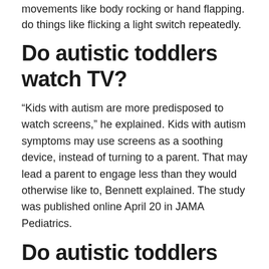movements like body rocking or hand flapping. do things like flicking a light switch repeatedly.
Do autistic toddlers watch TV?
“Kids with autism are more predisposed to watch screens,” he explained. Kids with autism symptoms may use screens as a soothing device, instead of turning to a parent. That may lead a parent to engage less than they would otherwise like to, Bennett explained. The study was published online April 20 in JAMA Pediatrics.
Do autistic toddlers laugh at nothing?